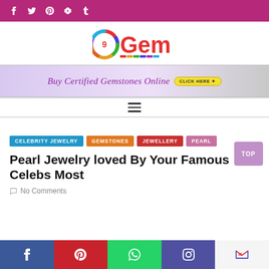Social media icons: Facebook, Twitter, Pinterest, YouTube, Tumblr
[Figure (logo): 9Gem logo with colorful circular gemstone icon and red text 'Gem']
[Figure (infographic): Ad banner: Buy Certified Gemstones Online - Click Here]
[Figure (other): Hamburger menu icon (three horizontal lines)]
CELEBRITY JEWELRY   GEMSTONES   JEWELLERY   PEARL
Pearl Jewelry loved By Your Famous Celebs Most
No Comments
Social share buttons: Facebook, Pinterest, WhatsApp, Instagram, Gmail